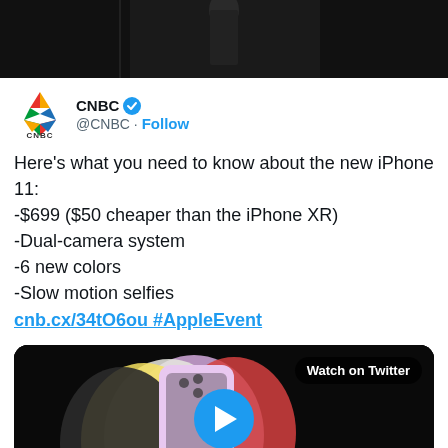[Figure (screenshot): Dark screenshot of a stage presentation at top of tweet]
CNBC ✓ @CNBC · Follow
Here's what you need to know about the new iPhone 11:
-$699 ($50 cheaper than the iPhone XR)
-Dual-camera system
-6 new colors
-Slow motion selfies
cnb.cx/34tO6ou #AppleEvent
[Figure (screenshot): Video thumbnail showing multiple iPhone 11 models fanned out in various colors against a black background, with a play button overlay and 'Watch on Twitter' badge]